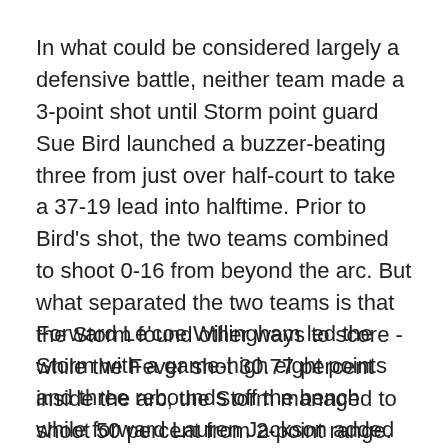In what could be considered largely a defensive battle, neither team made a 3-point shot until Storm point guard Sue Bird launched a buzzer-beating three from just over half-court to take a 37-19 lead into halftime. Prior to Bird's shot, the two teams combined to shoot 0-16 from beyond the arc. But what separated the two teams is that the Storm found other ways to score - while the Fever shot 30.77 percent inside the arc, the Storm managed to shoot 50 percent from 2-point range.
Forward Le'coe Willingham led the Storm with a game-high eight points and three rebounds off the bench while forward Lauren Jackson added a team-high five rebounds and five points to help them control the glass.